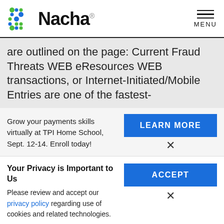[Figure (logo): Nacha logo with colorful dot pattern and Nacha wordmark]
are outlined on the page: Current Fraud Threats WEB eResources WEB transactions, or Internet-Initiated/Mobile Entries are one of the fastest-
Grow your payments skills virtually at TPI Home School, Sept. 12-14. Enroll today!
LEARN MORE
Your Privacy is Important to Us
Please review and accept our privacy policy regarding use of cookies and related technologies.
ACCEPT